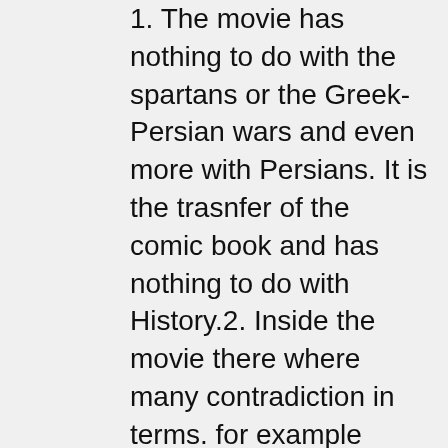1. The movie has nothing to do with the spartans or the Greek-Persian wars and even more with Persians. It is the trasnfer of the comic book and has nothing to do with History.2. Inside the movie there where many contradiction in terms. for example Leonidas didn't take efialtes with him because he said that the spartans used to fight in phalanx, on the movie they didn't fight in such a way!!! The wife of Leonidas is a strong woman but she "gave" herself to the political enemy of Leonidas.3. The history facts where wrong:1. The kings in Sparta were only the chiefs of the army. Sparta